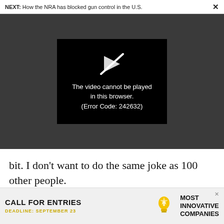NEXT: How the NRA has blocked gun control in the U.S.  ×
[Figure (screenshot): Video player showing error: 'The video cannot be played in this browser. (Error Code: 242632)' with a broken play button icon on a black background, set against a dark gray video area background.]
bit. I don't want to do the same joke as 100 other people.
[Figure (infographic): Advertisement banner: 'CALL FOR ENTRIES' with 'DEADLINE: SEPTEMBER 23', a lightbulb icon, and 'Most Innovative Companies' text on a light gray background.]